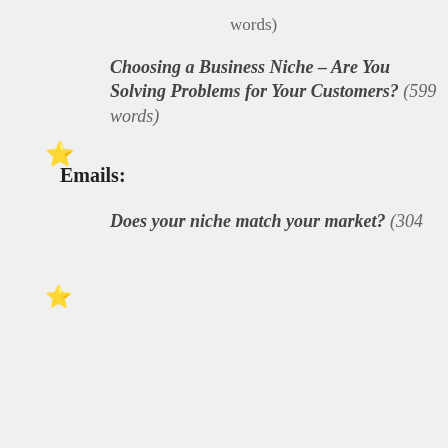words)
Choosing a Business Niche – Are You Solving Problems for Your Customers? (599 words)
Emails:
Does your niche match your market? (304